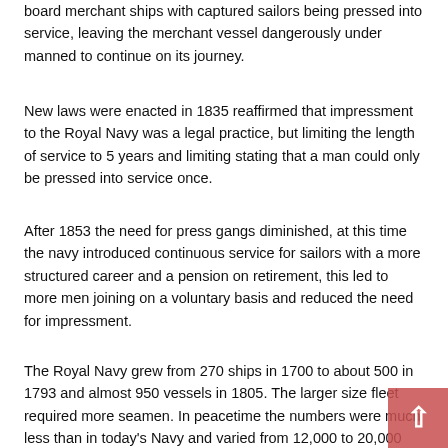board merchant ships with captured sailors being pressed into service, leaving the merchant vessel dangerously under manned to continue on its journey.
New laws were enacted in 1835 reaffirmed that impressment to the Royal Navy was a legal practice, but limiting the length of service to 5 years and limiting stating that a man could only be pressed into service once.
After 1853 the need for press gangs diminished, at this time the navy introduced continuous service for sailors with a more structured career and a pension on retirement, this led to more men joining on a voluntary basis and reduced the need for impressment.
The Royal Navy grew from 270 ships in 1700 to about 500 in 1793 and almost 950 vessels in 1805. The larger size fleet required more seamen. In peacetime the numbers were much less than in today's Navy and varied from 12,000 to 20,000 men during the Eighteenth Century. In wartime, strength increased from 40,000 in the Wars of 1739-1748, to 150,000 at the peak of